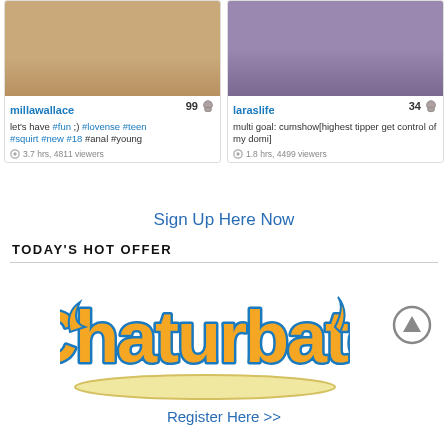[Figure (screenshot): Two webcam model cards side by side. Left card: millawallace, 99 viewers icon, description 'let's have #fun ;) #lovense #teen #squirt #new #18 #anal #young', 3.7 hrs, 4811 viewers. Right card: laraslife, 34 viewers icon, description 'multi goal: cumshow[highest tipper get control of my domi]', 1.8 hrs, 4499 viewers.]
Sign Up Here Now
TODAY'S HOT OFFER
[Figure (logo): Chaturbate logo in orange/yellow script with teal outline and underline]
Register Here >>